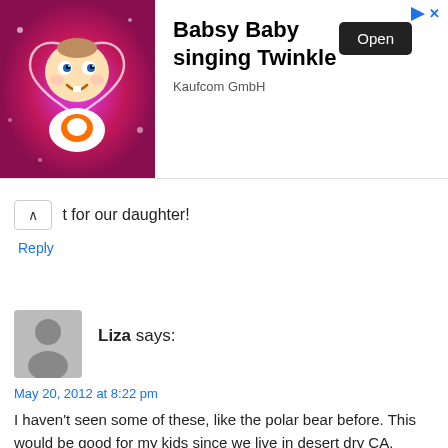[Figure (illustration): Advertisement banner with animated baby character (Babsy Baby) on a pink sparkly background. Shows app advertisement with 'Open' button. Title: 'Babsy Baby singing Twinkle', subtitle: 'Kaufcom GmbH']
t for our daughter!
Reply
Liza says:
May 20, 2012 at 8:22 pm
I haven't seen some of these, like the polar bear before. This would be good for my kids since we live in desert dry CA.
Reply